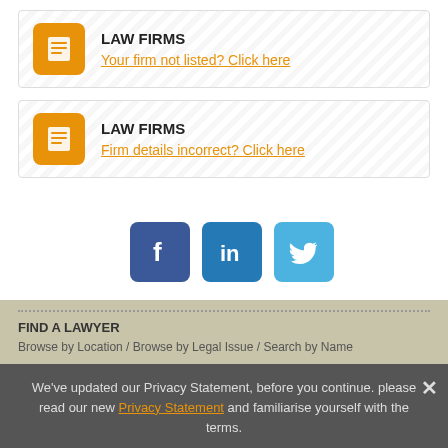LAW FIRMS
Your firm not listed? Click here
LAW FIRMS
Firm details incorrect? Click here
[Figure (infographic): Social media buttons: Facebook, LinkedIn, Twitter]
FIND A LAWYER
Browse by Location / Browse by Legal Issue / Search by Name
FOR LAWYERS
Visit our professional site / Edit your legal profile / Website Development / Advertise on our site
LOCAL LAWYERS
Sydney Lawyers / Parramatta Lawyers / Central Coast Senior Lawyers / Newcastle
We've updated our Privacy Statement, before you continue. please read our new Privacy Statement and familiarise yourself with the terms.